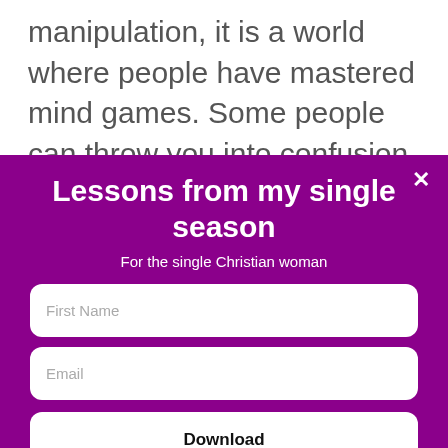manipulation, it is a world where people have mastered mind games. Some people can throw you into confusion, they test and tempt you like a dummy. They say something today then tomorrow deny it.
Lessons from my single season
For the single Christian woman
First Name
Email
Download